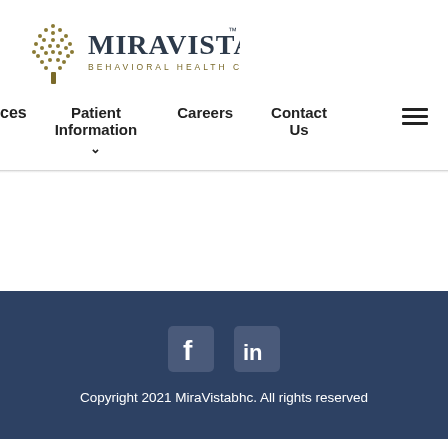[Figure (logo): MiraVista Behavioral Health Center logo with tree icon and stylized text]
ces  Patient Information  Careers  Contact Us
Copyright 2021 MiraVistabhc. All rights reserved